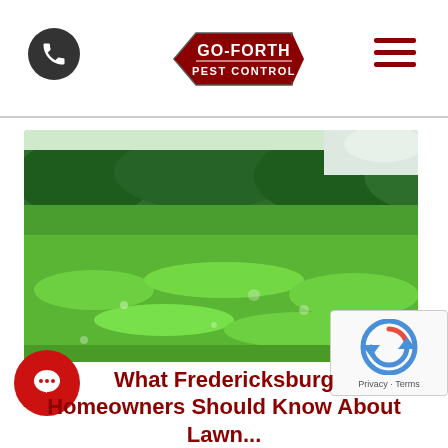Go-Forth Pest Control — navigation bar with phone icon, logo, and hamburger menu
[Figure (photo): Close-up photograph of a lush green lawn with vivid green grass in the foreground and dense green shrubs/trees in the background under a bright sky.]
What Fredericksburg Homeowners Should Know About Lawn...